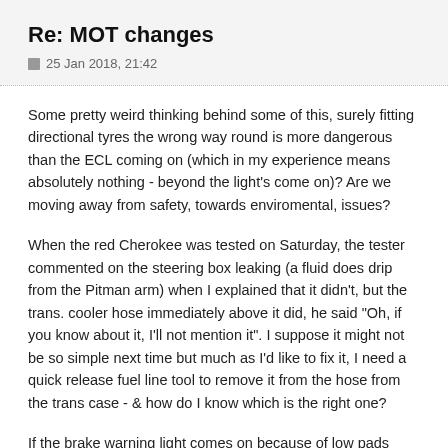Re: MOT changes
25 Jan 2018, 21:42
Some pretty weird thinking behind some of this, surely fitting directional tyres the wrong way round is more dangerous than the ECL coming on (which in my experience means absolutely nothing - beyond the light's come on)? Are we moving away from safety, towards enviromental, issues?
When the red Cherokee was tested on Saturday, the tester commented on the steering box leaking (a fluid does drip from the Pitman arm) when I explained that it didn't, but the trans. cooler hose immediately above it did, he said "Oh, if you know about it, I'll not mention it". I suppose it might not be so simple next time but much as I'd like to fix it, I need a quick release fuel line tool to remove it from the hose from the trans case - & how do I know which is the right one?
If the brake warning light comes on because of low pads (rather than cheaper sensorless pads being fitted, the fluid